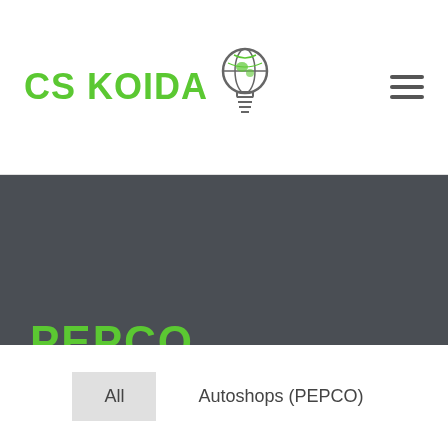CS KOIDA [logo with lightbulb icon]
PEPCO PORTFOLIO
All   Autoshops (PEPCO)